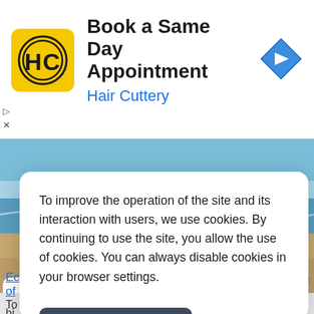[Figure (screenshot): Hair Cuttery advertisement banner with yellow logo featuring HC initials, title 'Book a Same Day Appointment', subtitle 'Hair Cuttery' in blue, and a blue diamond navigation arrow icon on the right]
[Figure (photo): Background photo of a beach scene with ocean waves and a person in red jacket and helmet on a motorcycle/ATV near rocks and sand]
To improve the operation of the site and its interaction with users, we use cookies. By continuing to use the site, you allow the use of cookies. You can always disable cookies in your browser settings.
Accept